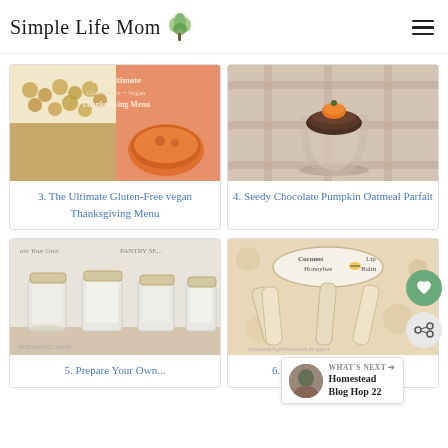Simple Life Mom
[Figure (photo): Thumbnail image for The Ultimate Gluten-Free Vegan Thanksgiving Menu - showing chickpeas in a bowl and a bowl of orange soup]
3. The Ultimate Gluten-Free vegan Thanksgiving Menu
[Figure (photo): Seedy Chocolate Pumpkin Oatmeal Parfait in a glass dessert cup with garnish on a plaid cloth]
4. Seedy Chocolate Pumpkin Oatmeal Parfait
[Figure (photo): Glass jars with white powder labeled Pantry Staples]
5. Prepare Your Own...
[Figure (photo): Coconut Honeybee Lip Balm tubes on a floral background]
6. Coconut Honeybee Lip...